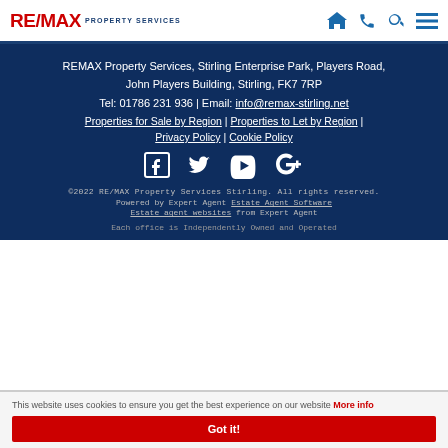RE/MAX PROPERTY SERVICES
REMAX Property Services, Stirling Enterprise Park, Players Road, John Players Building, Stirling, FK7 7RP
Tel: 01786 231 936 | Email: info@remax-stirling.net
Properties for Sale by Region | Properties to Let by Region | Privacy Policy | Cookie Policy
[Figure (illustration): Social media icons: Facebook, Twitter, YouTube, Google+]
©2022 RE/MAX Property Services Stirling. All rights reserved.
Powered by Expert Agent Estate Agent Software
Estate agent websites from Expert Agent
Each office is Independently Owned and Operated
This website uses cookies to ensure you get the best experience on our website More info
Got it!